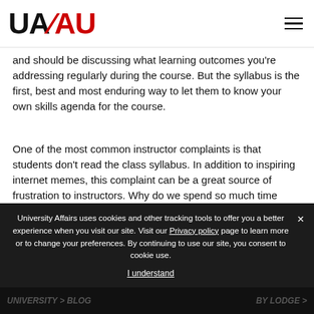UA/AU logo and navigation
and should be discussing what learning outcomes you're addressing regularly during the course. But the syllabus is the first, best and most enduring way to let them to know your own skills agenda for the course.
One of the most common instructor complaints is that students don't read the class syllabus. In addition to inspiring internet memes, this complaint can be a great source of frustration to instructors. Why do we spend so much time crafting our syllabi if the students don't read them?
University Affairs uses cookies and other tracking tools to offer you a better experience when you visit our site. Visit our Privacy policy page to learn more or to change your preferences. By continuing to use our site, you consent to cookie use.
I understand
bottom navigation bar